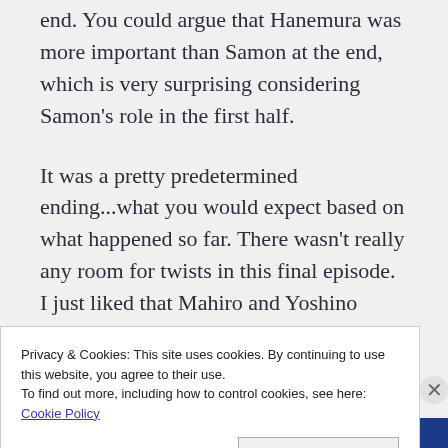end. You could argue that Hanemura was more important than Samon at the end, which is very surprising considering Samon's role in the first half.
It was a pretty predetermined ending...what you would expect based on what happened so far. There wasn't really any room for twists in this final episode. I just liked that Mahiro and Yoshino moved on...part of me considered the possibility that they just went on with their
Privacy & Cookies: This site uses cookies. By continuing to use this website, you agree to their use.
To find out more, including how to control cookies, see here: Cookie Policy
Close and accept